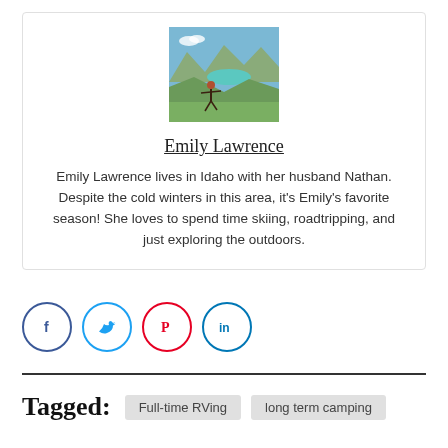[Figure (photo): Author photo of Emily Lawrence posing on a mountain hillside with a turquoise lake and mountain peaks in the background]
Emily Lawrence
Emily Lawrence lives in Idaho with her husband Nathan. Despite the cold winters in this area, it's Emily's favorite season! She loves to spend time skiing, roadtripping, and just exploring the outdoors.
[Figure (infographic): Social media icons: Facebook (blue circle with f), Twitter (light blue circle with bird), Pinterest (red circle with P), LinkedIn (blue circle with in)]
Tagged:  Full-time RVing  long term camping